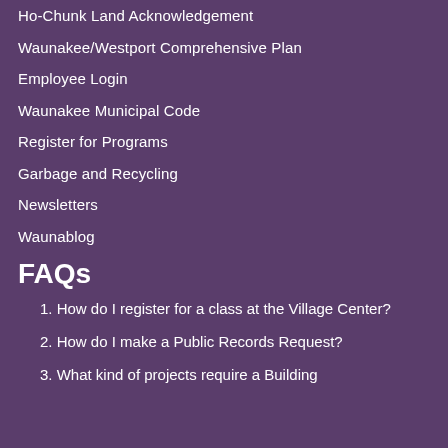Ho-Chunk Land Acknowledgement
Waunakee/Westport Comprehensive Plan
Employee Login
Waunakee Municipal Code
Register for Programs
Garbage and Recycling
Newsletters
Waunablog
FAQs
1. How do I register for a class at the Village Center?
2. How do I make a Public Records Request?
3. What kind of projects require a Building